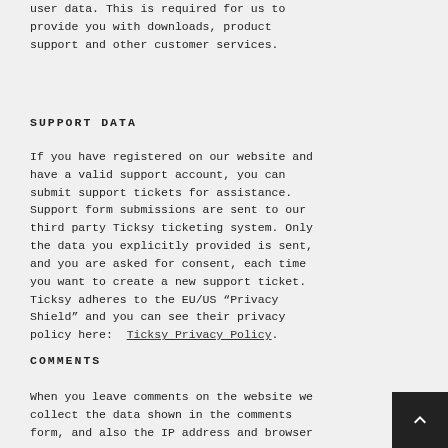user data. This is required for us to provide you with downloads, product support and other customer services.
SUPPORT DATA
If you have registered on our website and have a valid support account, you can submit support tickets for assistance. Support form submissions are sent to our third party Ticksy ticketing system. Only the data you explicitly provided is sent, and you are asked for consent, each time you want to create a new support ticket. Ticksy adheres to the EU/US “Privacy Shield” and you can see their privacy policy here: Ticksy Privacy Policy.
COMMENTS
When you leave comments on the website we collect the data shown in the comments form, and also the IP address and browser